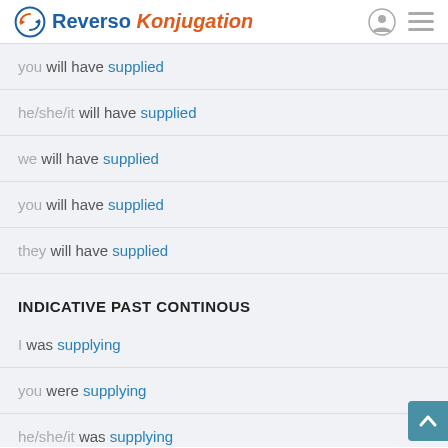Reverso Konjugation
you will have supplied
he/she/it will have supplied
we will have supplied
you will have supplied
they will have supplied
INDICATIVE PAST CONTINOUS
I was supplying
you were supplying
he/she/it was supplying
we were supplying